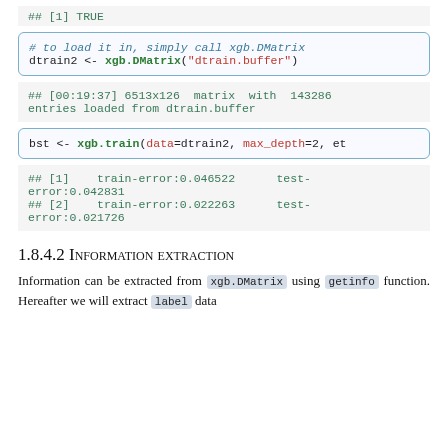## [1] TRUE
# to load it in, simply call xgb.DMatrix
dtrain2 <- xgb.DMatrix("dtrain.buffer")
## [00:19:37] 6513x126 matrix with 143286 entries loaded from dtrain.buffer
bst <- xgb.train(data=dtrain2, max_depth=2, et
## [1]    train-error:0.046522      test-error:0.042831
## [2]    train-error:0.022263      test-error:0.021726
1.8.4.2 Information Extraction
Information can be extracted from xgb.DMatrix using getinfo function. Hereafter we will extract label data